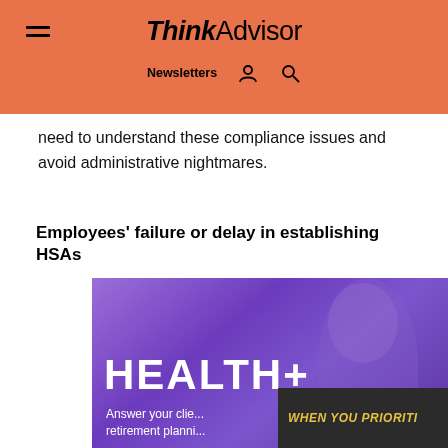ThinkAdvisor — Newsletters
need to understand these compliance issues and avoid administrative nightmares.
Employees' failure or delay in establishing HSAs
[Figure (illustration): Advertisement banner with purple background showing a smiling woman healthcare worker. Large white bold text reads 'HEALTH+'. Subtitle text reads 'Answer your clie... retirement planni...' A dark overlay strip on bottom right reads 'WHEN YOU PRIORITI...']